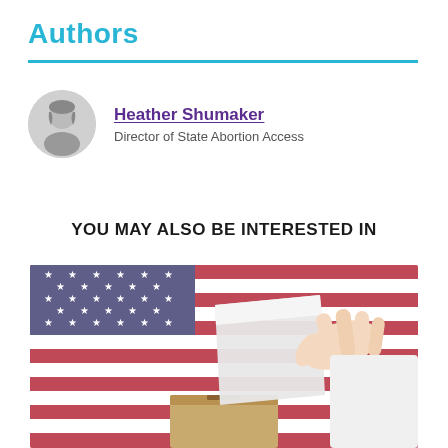Authors
Heather Shumaker
Director of State Abortion Access
YOU MAY ALSO BE INTERESTED IN
[Figure (photo): A hand inserting a ballot into a ballot box, with an American flag in the background.]